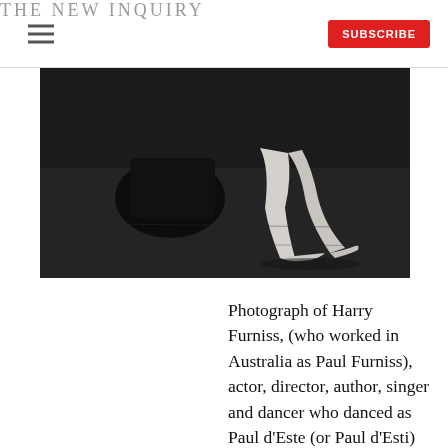THE NEW INQUIRY
[Figure (photo): Black and white photograph showing a person's bare legs and feet resting on a dark floor, with what appears to be a dark piece of furniture or prop visible.]
Photograph of Harry Furniss, (who worked in Australia as Paul Furniss), actor, director, author, singer and dancer who danced as Paul d'Este (or Paul d'Esti) in the